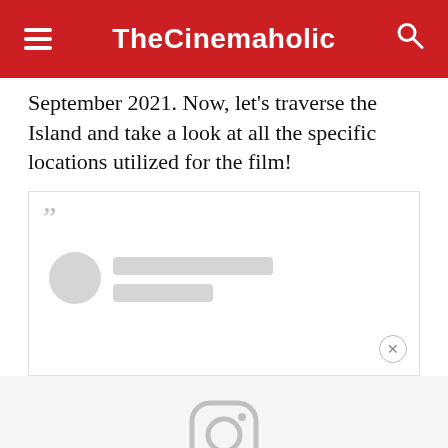TheCinemaholic
September 2021. Now, let's traverse the Island and take a look at all the specific locations utilized for the film!
[Figure (screenshot): Embedded social media post placeholder with quote icon, profile circle avatar, two grey placeholder lines, and a close (X) button]
[Figure (logo): Instagram logo icon in light grey, indicating an embedded Instagram post area]